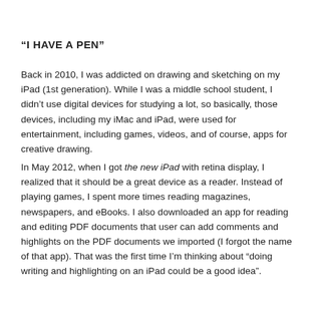“I HAVE A PEN”
Back in 2010, I was addicted on drawing and sketching on my iPad (1st generation). While I was a middle school student, I didn’t use digital devices for studying a lot, so basically, those devices, including my iMac and iPad, were used for entertainment, including games, videos, and of course, apps for creative drawing.
In May 2012, when I got the new iPad with retina display, I realized that it should be a great device as a reader. Instead of playing games, I spent more times reading magazines, newspapers, and eBooks. I also downloaded an app for reading and editing PDF documents that user can add comments and highlights on the PDF documents we imported (I forgot the name of that app). That was the first time I’m thinking about “doing writing and highlighting on an iPad could be a good idea”.